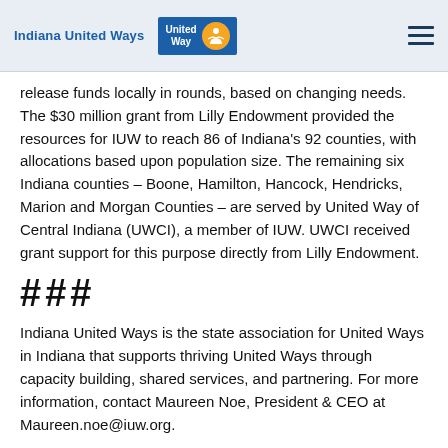Indiana United Ways
release funds locally in rounds, based on changing needs. The $30 million grant from Lilly Endowment provided the resources for IUW to reach 86 of Indiana's 92 counties, with allocations based upon population size. The remaining six Indiana counties – Boone, Hamilton, Hancock, Hendricks, Marion and Morgan Counties – are served by United Way of Central Indiana (UWCI), a member of IUW. UWCI received grant support for this purpose directly from Lilly Endowment.
###
Indiana United Ways is the state association for United Ways in Indiana that supports thriving United Ways through capacity building, shared services, and partnering. For more information, contact Maureen Noe, President & CEO at Maureen.noe@iuw.org.